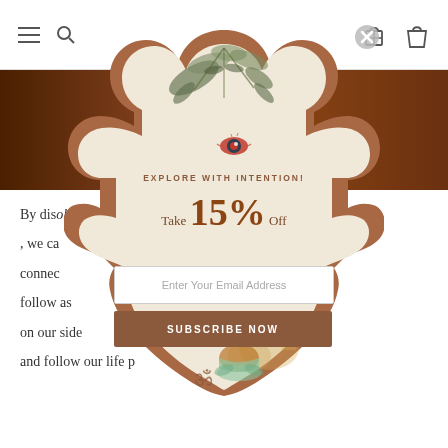Navigation bar with menu, search, gift, and cart icons
[Figure (screenshot): Website screenshot showing a spiritual/wellness e-commerce page with a hamsa hand shaped popup modal offering 15% off discount. The modal contains botanical leaf illustrations, an evil eye symbol, a meditating Buddha illustration, and Om symbol at the bottom. Background shows dark wood-toned banner and article text.]
EXPLORE WITH INTENTION!
Take 15% Off
Enter Your Email Address
SUBSCRIBE NOW
By dis... ology , we ca... t connec... we follow as... universe on our side ... at we want and follow our life p...